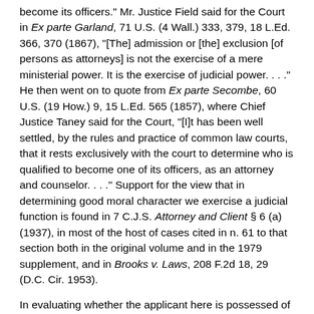become its officers." Mr. Justice Field said for the Court in Ex parte Garland, 71 U.S. (4 Wall.) 333, 379, 18 L.Ed. 366, 370 (1867), "[The] admission or [the] exclusion [of persons as attorneys] is not the exercise of a mere ministerial power. It is the exercise of judicial power. . . ." He then went on to quote from Ex parte Secombe, 60 U.S. (19 How.) 9, 15 L.Ed. 565 (1857), where Chief Justice Taney said for the Court, "[I]t has been well settled, by the rules and practice of common law courts, that it rests exclusively with the court to determine who is qualified to become one of its officers, as an attorney and counselor. . . ." Support for the view that in determining good moral character we exercise a judicial function is found in 7 C.J.S. Attorney and Client § 6 (a) (1937), in most of the host of cases cited in n. 61 to that section both in the original volume and in the 1979 supplement, and in Brooks v. Laws, 208 F.2d 18, 29 (D.C. Cir. 1953).
In evaluating whether the applicant here is possessed of good moral character we certainly are entitled to consider conduct which he has admitted. In my view, however, since such an evaluation is a judicial function the expungement of the criminal record is of no significance and the General Assembly is without power to specify otherwise as to a potential member of the Bar.